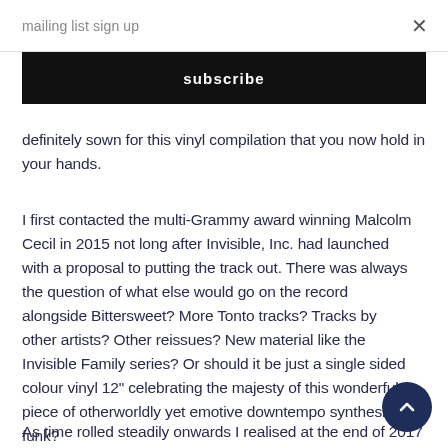mailing list sign up
subscribe
definitely sown for this vinyl compilation that you now hold in your hands.
I first contacted the multi-Grammy award winning Malcolm Cecil in 2015 not long after Invisible, Inc. had launched with a proposal to putting the track out. There was always the question of what else would go on the record alongside Bittersweet? More Tonto tracks? Tracks by other artists? Other reissues? New material like the Invisible Family series? Or should it be just a single sided colour vinyl 12" celebrating the majesty of this wonderful piece of otherworldly yet emotive downtempo synthesizer funk?
As time rolled steadily onwards I realised at the end of 2017